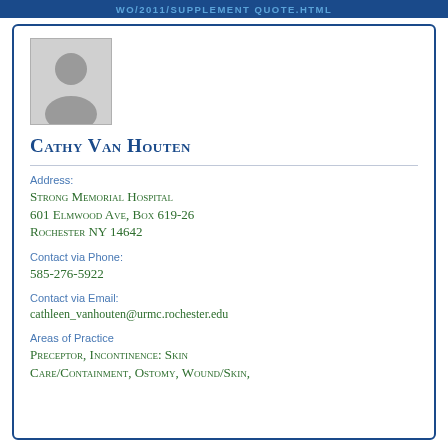WO/2011/SUPPLEMENT Quote.html
[Figure (photo): Generic person silhouette placeholder profile photo in gray]
Cathy Van Houten
Address:
Strong Memorial Hospital
601 Elmwood Ave, Box 619-26
Rochester NY 14642
Contact via Phone:
585-276-5922
Contact via Email:
cathleen_vanhouten@urmc.rochester.edu
Areas of Practice
Preceptor, Incontinence: Skin Care/Containment, Ostomy, Wound/Skin,